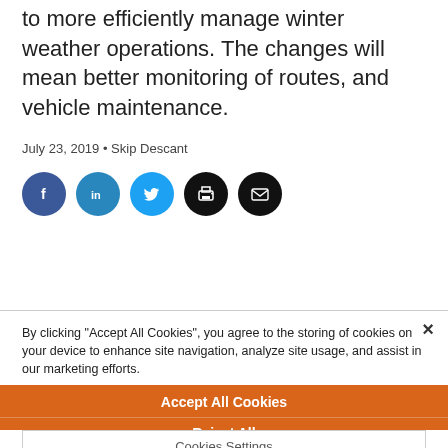to more efficiently manage winter weather operations. The changes will mean better monitoring of routes, and vehicle maintenance.
July 23, 2019 • Skip Descant
[Figure (other): Social sharing buttons: Facebook (dark blue), LinkedIn (medium blue), Twitter (light blue), Print (black), Email (black)]
By clicking "Accept All Cookies", you agree to the storing of cookies on your device to enhance site navigation, analyze site usage, and assist in our marketing efforts.
Accept All Cookies
Reject All
Cookies Settings